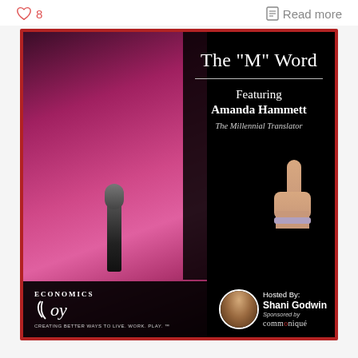♡ 8
Read more
[Figure (photo): Podcast episode promotional graphic for 'The M Word' featuring Amanda Hammett, The Millennial Translator. Left half shows a woman with blonde hair in a pink dress holding a microphone and pointing upward. Right half has dark background with title text. Bottom shows Joy Economics logo and host Shani Godwin with Communiqué sponsorship.]
The "M" Word
Featuring Amanda Hammett
The Millennial Translator
Hosted By: Shani Godwin
Sponsored by communiqué
JOY ECONOMICS
CREATING BETTER WAYS TO LIVE. WORK. PLAY. ™